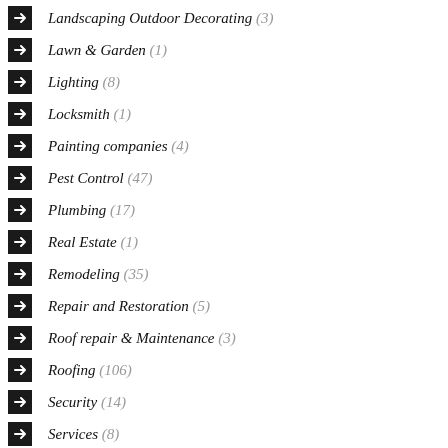Landscaping Outdoor Decorating (3)
Lawn & Garden (1)
Lighting (8)
Locksmith (1)
Painting companies (4)
Pest Control (47)
Plumbing (17)
Real Estate (1)
Remodeling (35)
Repair and Restoration (5)
Roof repair & Maintenance (3)
Roofing (106)
Security (14)
Services (8)
Swimming Pools (3)